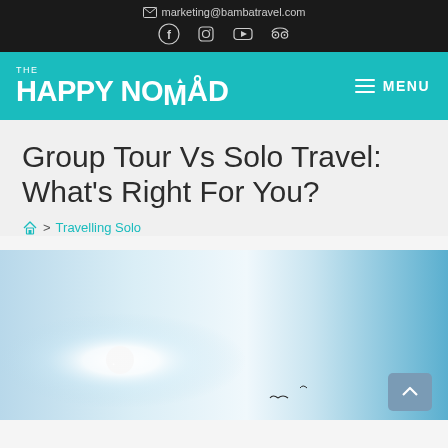marketing@bambatravel.com
Group Tour Vs Solo Travel: What's Right For You?
Home > Travelling Solo
[Figure (photo): Sky photo with sun glare and birds flying, used as hero image for the article about group tour vs solo travel]